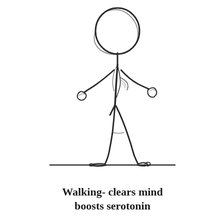[Figure (illustration): Hand-drawn sketch illustration of a stick figure person walking briskly, with arms swinging and legs in stride. The figure has a circular head drawn with rough overlapping strokes, a body with a tie/jacket, and legs in motion. A horizontal ground line is visible beneath the feet.]
Walking- clears mind boosts serotonin